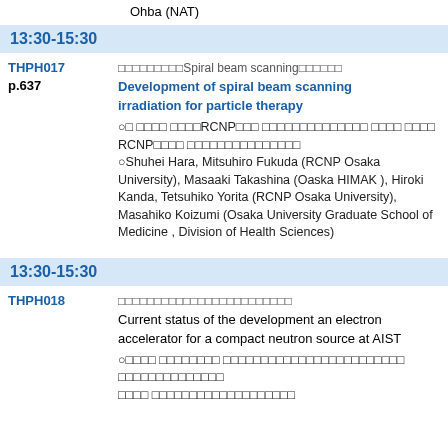Ohba (NAT)
13:30-15:30
THPH017 p.637 — Development of spiral beam scanning irradiation for particle therapy. ○Shuhei Hara, Mitsuhiro Fukuda (RCNP Osaka University), Masaaki Takashina (Oaska HIMAK), Hiroki Kanda, Tetsuhiko Yorita (RCNP Osaka University), Masahiko Koizumi (Osaka University Graduate School of Medicine , Division of Health Sciences)
13:30-15:30
THPH018 — Current status of the development an electron accelerator for a compact neutron source at AIST